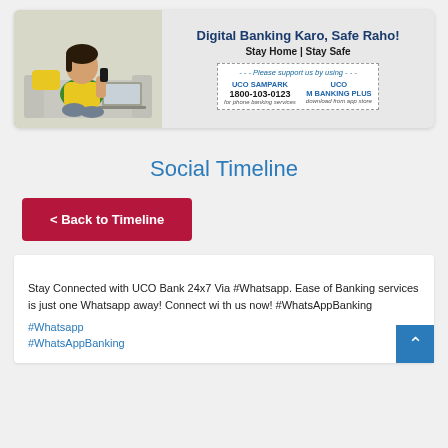[Figure (infographic): UCO Bank digital banking banner with woman sitting on sofa with phone and laptop. Text: Digital Banking Karo, Safe Raho! Stay Home | Stay Safe. Please support us by using UCO SAMPARK 1800-103-0123 for phone banking services and UCO M BANKING PLUS download from app store.]
Social Timeline
< Back to Timeline
Stay Connected with UCO Bank 24x7 Via #Whatsapp. Ease of Banking services is just one Whatsapp away! Connect with us now! #WhatsAppBanking
#Whatsapp
#WhatsAppBanking